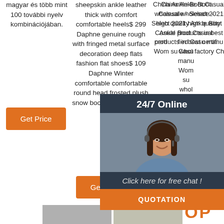magyar és több mint 100 további nyelv kombinációjában.
sheepskin ankle leather thick with comfort comfortable heels$ 299 Daphne genuine rough with fringed metal surface decoration deep flats fashion flat shoes$ 109 Daphne Winter comfortable comfortable round head frosted plush snow boots Sale: $ 199 ...
China Ankle Boot Casual wholesale - Select 2021 high quality Ankle Boot Casual products in best certified Casual manufacturers, Women suppliers, wholesale factory, Ch...
[Figure (photo): Customer service representative woman with headset, chat overlay with '24/7 Online', 'Click here for free chat!', and QUOTATION button]
[Figure (photo): TOP button with orange dots and orange TOP text]